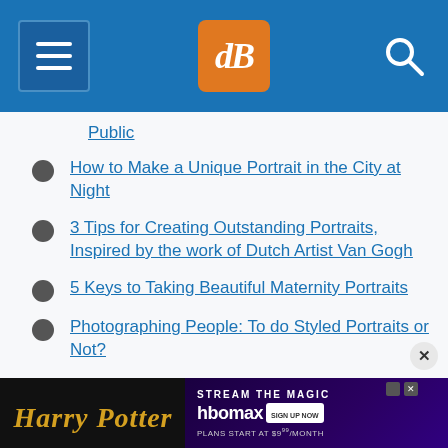dPS navigation header with menu, logo, and search
Public
How to Make a Unique Portrait in the City at Night
3 Tips for Creating Outstanding Portraits, Inspired by the work of Dutch Artist Van Gogh
5 Keys to Taking Beautiful Maternity Portraits
Photographing People: To do Styled Portraits or Not?
7 Steps to Capturing Truth in Your Portraiture
Engagement Portrait Shoots: 7 Professional
[Figure (infographic): Harry Potter HBO Max advertisement banner: Stream the Magic, plans start at $9.99/month]